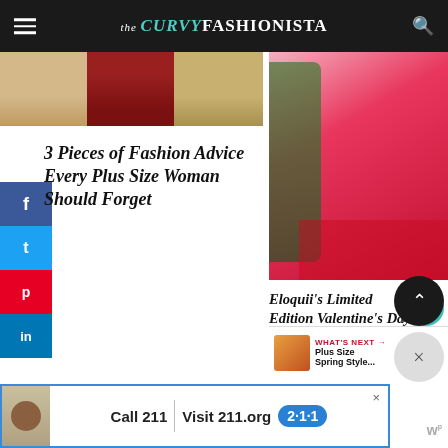the CURVY FASHIONISTA
[Figure (photo): Three pairs of shoes/heels displayed side by side - tan wedges, red heels, and tan heels]
3 Pieces of Fashion Advice Every Plus Size Woman Should Forget
[Figure (photo): Woman in red lace-hem dress against pink floral background]
Eloquii's Limited Edition Valentine's Day Collection Brings On The Romance
WHAT'S NEXT → Plus Size Spring Style...
[Figure (photo): Advertisement: Call 211 | Visit 211.org with 2-1-1 badge logo]